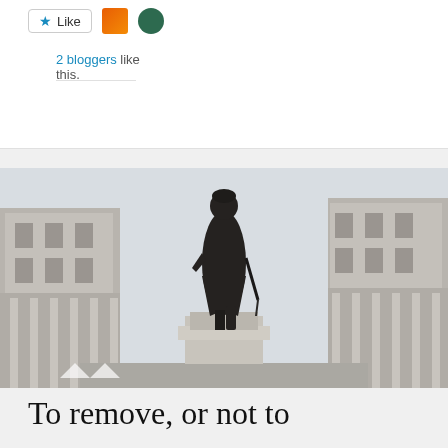Like  2 bloggers like this.
[Figure (photo): A bronze statue of a historical figure in military/period dress holding a sword, mounted on a stone pedestal, flanked by grand classical stone buildings on either side, photographed from below against a pale grey sky.]
To remove, or not to